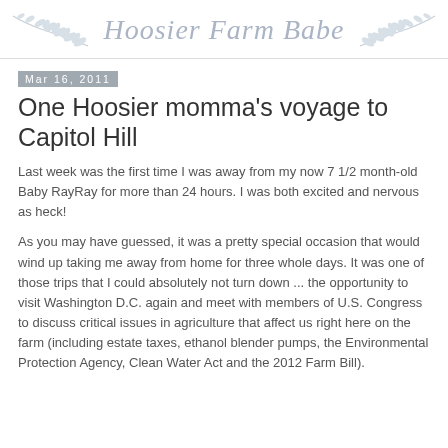Hoosier Farm Babe
One Hoosier momma's voyage to Capitol Hill
Mar 16, 2011
Last week was the first time I was away from my now 7 1/2 month-old Baby RayRay for more than 24 hours. I was both excited and nervous as heck!
As you may have guessed, it was a pretty special occasion that would wind up taking me away from home for three whole days. It was one of those trips that I could absolutely not turn down ... the opportunity to visit Washington D.C. again and meet with members of U.S. Congress to discuss critical issues in agriculture that affect us right here on the farm (including estate taxes, ethanol blender pumps, the Environmental Protection Agency, Clean Water Act and the 2012 Farm Bill).